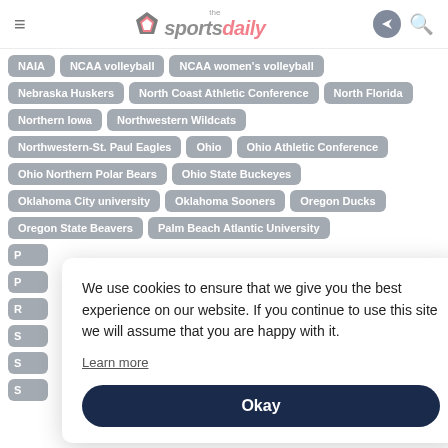the sportsdaily
NAIA
NCAA volleyball
NCAA women's volleyball
Nebraska Huskers
North Coast Athletic Conference
North Florida
Northern Iowa
Northwestern Wildcats
Northwestern-St. Paul Eagles
Ohio
Ohio Athletic Conference
Ohio Northern Polar Bears
Ohio State Buckeyes
Oklahoma City university
Oklahoma Sooners
Oregon Ducks
Oregon State Beavers
Palm Beach Atlantic University
We use cookies to ensure that we give you the best experience on our website. If you continue to use this site we will assume that you are happy with it.
Learn more
Okay